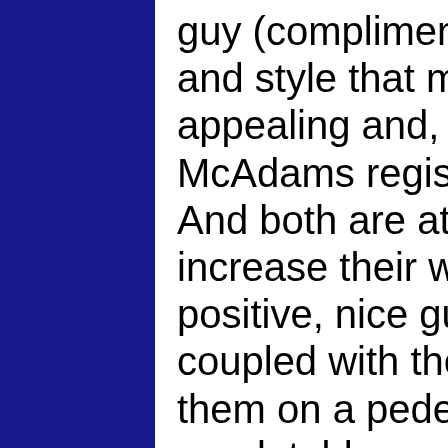guy (compliment!) appeal, presence and style that makes him immediately appealing and, again, relatable. McAdams registers on the same level. And both are attractive, which helps increase their watchability. But their positive, nice guy presences and styles coupled with their good looks don't put them on a pedestal or make them unrelatable or out-of-reach—because they maintain that down-to-earth personality that